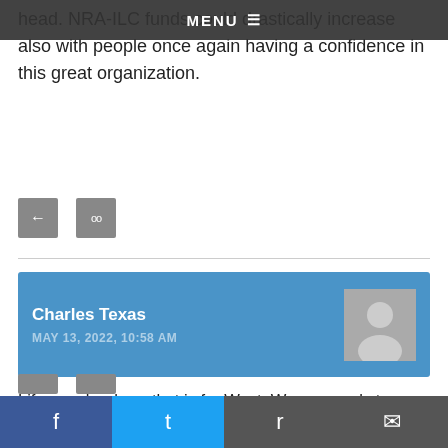MENU
head. NRA-ILC funds could drastically increase also with people once again having a confidence in this great organization.
Charles Texas
MAY 13, 2022, 10:58 AM
Life member here that is for West. Wayne needs to go. The NRA needs to get back to defending the Second Amendment instead of fund raising for the executives' parties.